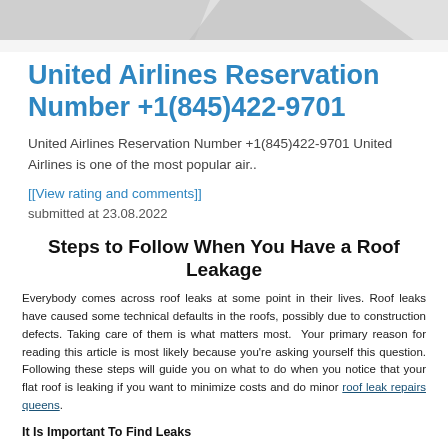[Figure (illustration): Gray decorative banner/header image with angular shapes at the top of the page]
United Airlines Reservation Number +1(845)422-9701
United Airlines Reservation Number +1(845)422-9701 United Airlines is one of the most popular air..
[[View rating and comments]]
submitted at 23.08.2022
Steps to Follow When You Have a Roof Leakage
Everybody comes across roof leaks at some point in their lives. Roof leaks have caused some technical defaults in the roofs, possibly due to construction defects. Taking care of them is what matters most. Your primary reason for reading this article is most likely because you're asking yourself this question. Following these steps will guide you on what to do when you notice that your flat roof is leaking if you want to minimize costs and do minor roof leak repairs queens.
It Is Important To Find Leaks